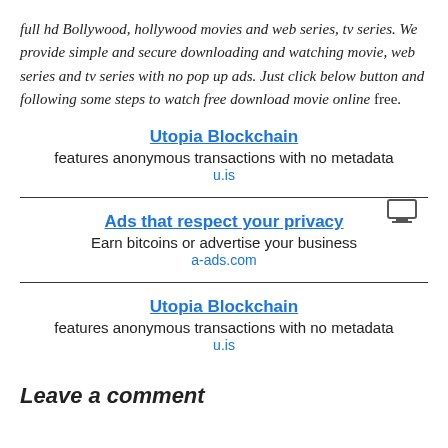full hd Bollywood, hollywood movies and web series, tv series. We provide simple and secure downloading and watching movie, web series and tv series with no pop up ads. Just click below button and following some steps to watch free download movie online free.
[Figure (other): Small icon resembling a monitor or display above ad block]
Utopia Blockchain
features anonymous transactions with no metadata
u.is
Ads that respect your privacy
Earn bitcoins or advertise your business
a-ads.com
Utopia Blockchain
features anonymous transactions with no metadata
u.is
Leave a comment